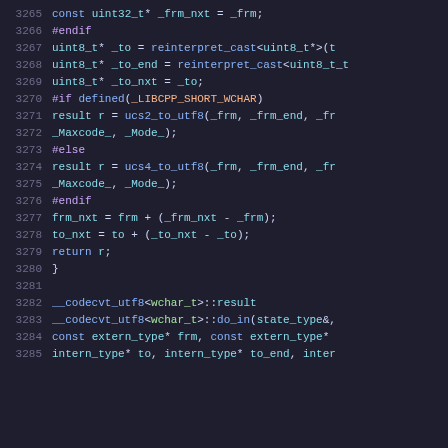Source code listing lines 3265-3285, C++ code with preprocessor directives and codecvt_utf8 implementation